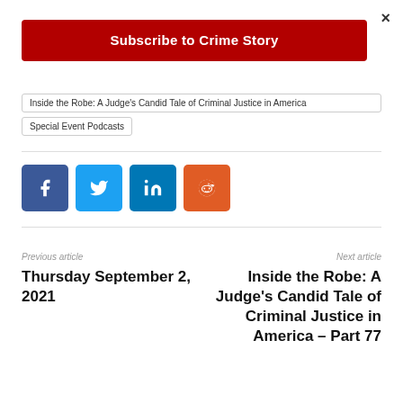×
Subscribe to Crime Story
Inside the Robe: A Judge's Candid Tale of Criminal Justice in America
Special Event Podcasts
[Figure (other): Social share buttons: Facebook (blue), Twitter (light blue), LinkedIn (dark blue), Reddit (orange)]
Previous article
Thursday September 2, 2021
Next article
Inside the Robe: A Judge's Candid Tale of Criminal Justice in America – Part 77